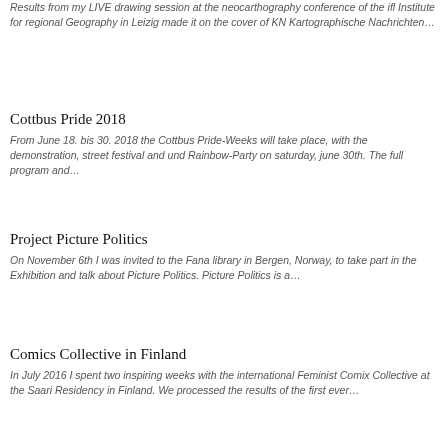Results from my LIVE drawing session at the neocarthography conference of the ifl Institute for regional Geography in Leizig made it on the cover of KN Kartographische Nachrichten…
Cottbus Pride 2018
From June 18. bis 30. 2018 the Cottbus Pride-Weeks will take place, with the demonstration, street festival and und Rainbow-Party on saturday, june 30th. The full program and…
Project Picture Politics
On November 6th I was invited to the Fana library in Bergen, Norway, to take part in the Exhibition and talk about Picture Politics. Picture Politics is a…
Comics Collective in Finland
In July 2016 I spent two inspiring weeks with the international Feminist Comix Collective at the Saari Residency in Finland. We processed the results of the first ever…